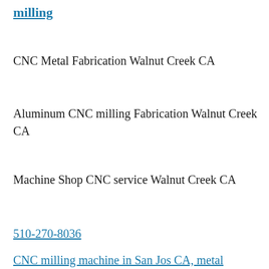milling
CNC Metal Fabrication Walnut Creek CA
Aluminum CNC milling Fabrication Walnut Creek CA
Machine Shop CNC service Walnut Creek CA
510-270-8036
CNC milling machine in San Jos CA, metal